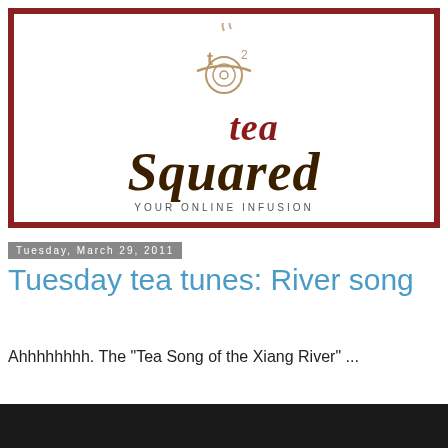[Figure (logo): Tea Squared logo with decorative tea cup icon above stylized text reading 'tea squared' and tagline 'YOUR ONLINE INFUSION', enclosed in a dark red border]
Tuesday, March 29, 2011
Tuesday tea tunes: River song
Ahhhhhhhh. The "Tea Song of the Xiang River" ...
[Figure (screenshot): Dark/black video player placeholder]